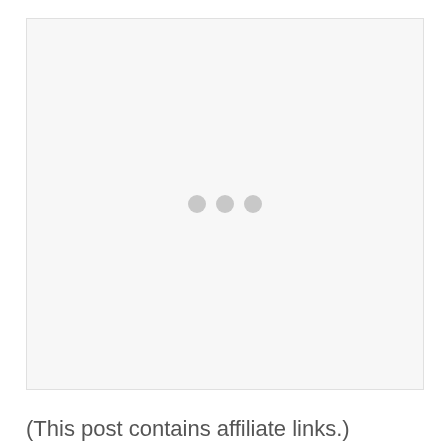[Figure (other): Large light gray placeholder image area with three small gray dots centered in the middle, indicating a loading state.]
(This post contains affiliate links.)